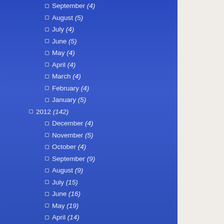September (4)
August (5)
July (4)
June (5)
May (4)
April (4)
March (4)
February (4)
January (5)
2012 (142)
December (4)
November (5)
October (4)
September (9)
August (9)
July (15)
June (16)
May (19)
April (14)
March (21)
February (16)
January (10)